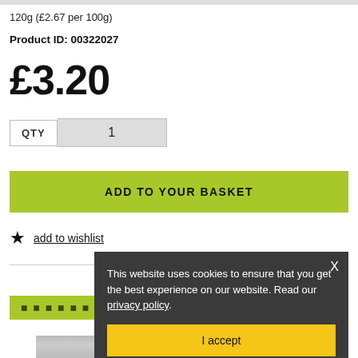120g (£2.67 per 100g)
Product ID: 00322027
£3.20
QTY  1
ADD TO YOUR BASKET
add to wishlist
This website uses cookies to ensure that you get the best experience on our website. Read our privacy policy.
I accept